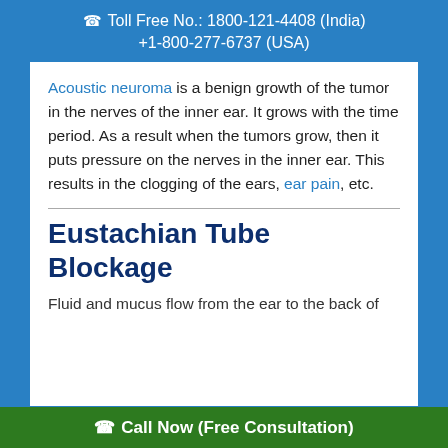Toll Free No.: 1800-121-4408 (India)
+1-800-277-6737 (USA)
Acoustic neuroma is a benign growth of the tumor in the nerves of the inner ear. It grows with the time period. As a result when the tumors grow, then it puts pressure on the nerves in the inner ear. This results in the clogging of the ears, ear pain, etc.
Eustachian Tube Blockage
Fluid and mucus flow from the ear to the back of
Call Now (Free Consultation)